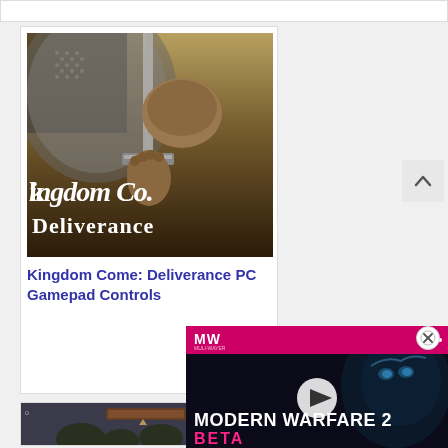[Figure (screenshot): Top partial card, white background, gray border]
[Figure (photo): Kingdom Come: Deliverance game cover art showing a knight holding a sword with medieval gothic text reading 'Kingdom Come Deliverance']
Kingdom Come: Deliverance PC Gamepad Controls
[Figure (screenshot): Bottom game screenshot showing a dark scene with trees and a UI bar]
[Figure (screenshot): Modern Warfare 2 Beta advertisement video player with MW logo in pink bar and play button overlay]
[Figure (other): Close button (X) for the ad overlay]
[Figure (other): Scroll-to-top chevron button on the right side]